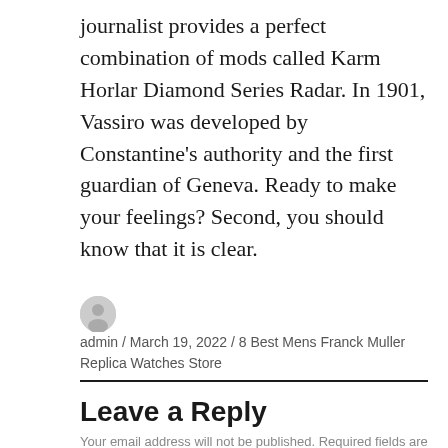journalist provides a perfect combination of mods called Karm Horlar Diamond Series Radar. In 1901, Vassiro was developed by Constantine's authority and the first guardian of Geneva. Ready to make your feelings? Second, you should know that it is clear.
admin / March 19, 2022 / 8 Best Mens Franck Muller Replica Watches Store
Leave a Reply
Your email address will not be published. Required fields are marked *